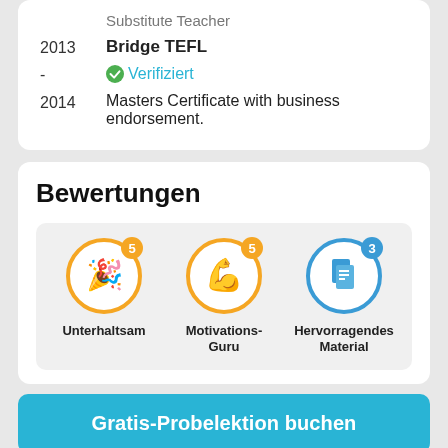| Year | Content |
| --- | --- |
|  | Substitute Teacher |
| 2013 | Bridge TEFL |
| - | ✓ Verifiziert |
| 2014 | Masters Certificate with business endorsement. |
Bewertungen
[Figure (infographic): Three badge icons in a row on a light gray background. First badge: orange circle with party/celebration icon, count badge '5', label 'Unterhaltsam'. Second badge: orange circle with flexing arm icon, count badge '5', label 'Motivations-Guru'. Third badge: blue circle with document/material icon, count badge '3', label 'Hervorragendes Material'.]
Gratis-Probelektion buchen